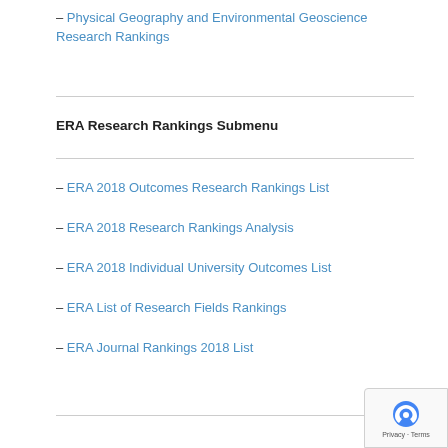– Physical Geography and Environmental Geoscience Research Rankings
ERA Research Rankings Submenu
– ERA 2018 Outcomes Research Rankings List
– ERA 2018 Research Rankings Analysis
– ERA 2018 Individual University Outcomes List
– ERA List of Research Fields Rankings
– ERA Journal Rankings 2018 List